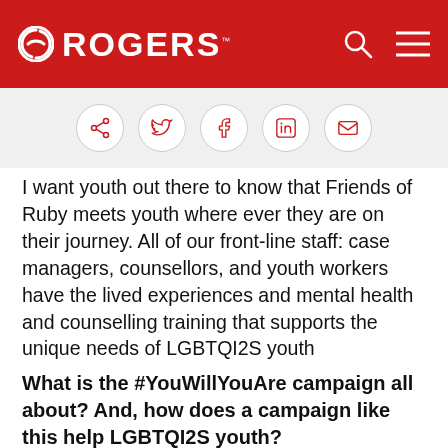ROGERS
[Figure (other): Social share icons: share, Twitter, Facebook, LinkedIn, email — each in a circular button]
I want youth out there to know that Friends of Ruby meets youth where ever they are on their journey. All of our front-line staff: case managers, counsellors, and youth workers have the lived experiences and mental health and counselling training that supports the unique needs of LGBTQI2S youth
What is the #YouWillYouAre campaign all about? And, how does a campaign like this help LGBTQI2S youth?